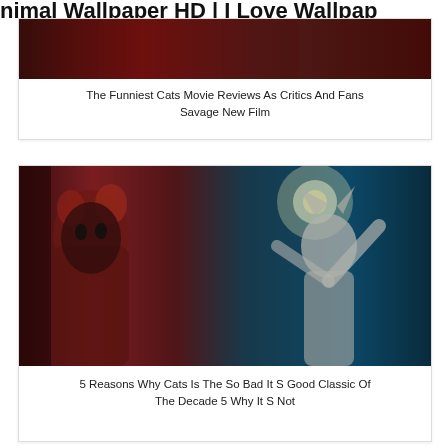nimal Wallpaper HD | I Love Wallpap
[Figure (photo): Dark cinematic image, partially visible, top of first card]
The Funniest Cats Movie Reviews As Critics And Fans Savage New Film
[Figure (photo): Scene from the Cats movie: a humanoid cat character with red fur and dramatic makeup on the left, and a pale cat-human figure reaching upward toward a glowing moon on the right, in a dark teal-lit environment]
5 Reasons Why Cats Is The So Bad It S Good Classic Of The Decade 5 Why It S Not